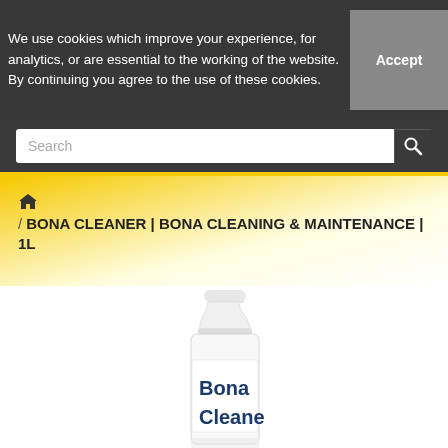We use cookies which improve your experience, for analytics, or are essential to the working of the website. By continuing you agree to the use of these cookies.
Accept
Search
/ BONA CLEANER | BONA CLEANING & MAINTENANCE | 1L
[Figure (photo): A white plastic bottle of Bona Cleaner, partially visible showing the cap and upper body with 'Bona Cleane' text on the label]